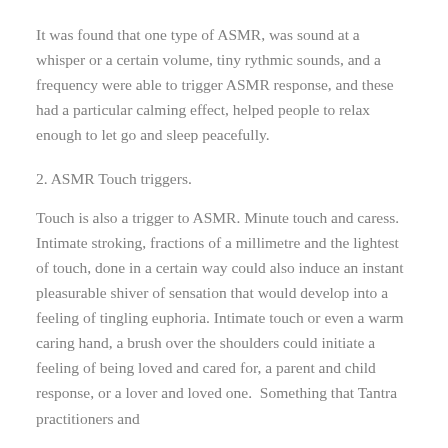It was found that one type of ASMR, was sound at a whisper or a certain volume, tiny rythmic sounds, and a frequency were able to trigger ASMR response, and these had a particular calming effect, helped people to relax enough to let go and sleep peacefully.
2. ASMR Touch triggers.
Touch is also a trigger to ASMR. Minute touch and caress. Intimate stroking, fractions of a millimetre and the lightest of touch, done in a certain way could also induce an instant pleasurable shiver of sensation that would develop into a feeling of tingling euphoria. Intimate touch or even a warm caring hand, a brush over the shoulders could initiate a feeling of being loved and cared for, a parent and child response, or a lover and loved one. Something that Tantra practitioners and